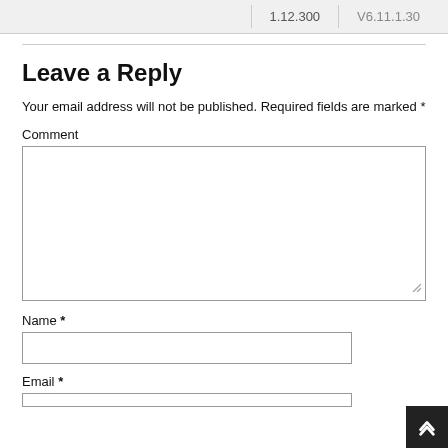| 1.12.300 | V6.11.1.30 |
Leave a Reply
Your email address will not be published. Required fields are marked *
Comment
Name *
Email *